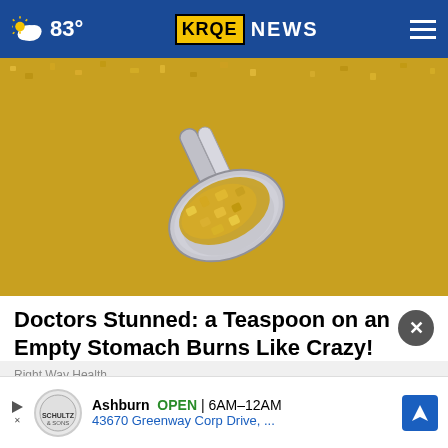83° KRQE NEWS
[Figure (photo): A metal teaspoon filled with coarse golden/yellow granules (sugar or salt) resting on a surface covered with the same granules, photographed close-up.]
Doctors Stunned: a Teaspoon on an Empty Stomach Burns Like Crazy!
Right Way Health...
Ashburn  OPEN  6AM–12AM  43670 Greenway Corp Drive, ...